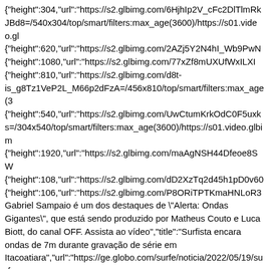{ "height":304,"url":"https://s2.glbimg.com/6HjhIp2V_cFc2DlTlmRk... JBd8=/540x304/top/smart/filters:max_age(3600)/https://s01.video.gl {"height":620,"url":"https://s2.glbimg.com/2AZj5Y2N4hI_Wb9PwN {"height":1080,"url":"https://s2.glbimg.com/77xZf8mUXUfWxILXI {"height":810,"url":"https://s2.glbimg.com/d8t-is_g8Tz1VeP2L_M66p2dFzA=/456x810/top/smart/filters:max_age(3 {"height":540,"url":"https://s2.glbimg.com/UwCtumKrkOdC0F5uxk s=/304x540/top/smart/filters:max_age(3600)/https://s01.video.glbim {"height":1920,"url":"https://s2.glbimg.com/maAgNSH44Dfeoe8SW {"height":108,"url":"https://s2.glbimg.com/dD2XzTq2d45h1pD0v60 {"height":106,"url":"https://s2.glbimg.com/P8ORiTPTKmaHNLoR3 Gabriel Sampaio é um dos destaques de \"Alerta: Ondas Gigantes\", que está sendo produzido por Matheus Couto e Luca Biott, do canal OFF. Assista ao vídeo","title":"Surfista encara ondas de 7m durante gravação de série em Itacoatiara","url":"https://ge.globo.com/surfe/noticia/2022/05/19/surf encara-ondas-de-7m-durante-gravacao-de-serie-em-itacoatiara.ghtml","video": {"duration":42800,"id":10591446,"kind":"Video","previewUrl":"","p encaram-ondas-gigantes-em-itacoatiara-10591446.ghtml"}},"created":"2022-05-19T21:31:23.941Z","draft":false,"feedId":"18b99904-91dc-41d9-a26f-91231e80292a","id":"2386c49fc683c5b3a05ecbce36d286b9","lastPu 05-19T21:31:24.373Z","modified":"2022-05-19T21:31:24.373Z","parentId":null,"publication":"2022-05